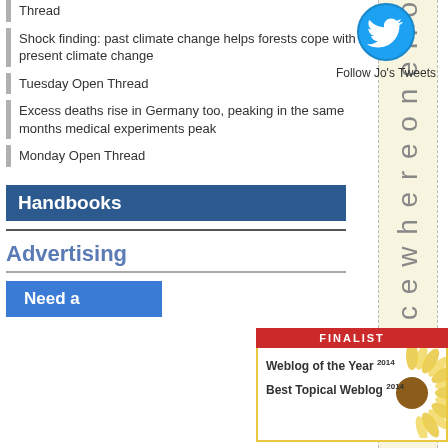Thread
Shock finding: past climate change helps forests cope with present climate change
Tuesday Open Thread
Excess deaths rise in Germany too, peaking in the same months medical experiments peak
Monday Open Thread
Handbooks
Advertising
Need a
[Figure (logo): Twitter bird logo icon in blue]
Follow Jo's Tweets
[Figure (illustration): Vertical rotated text reading 'cewhereonеHo']
[Figure (infographic): Finalist badge: Weblog of the Year 2014, Best Topical Weblog 2014]